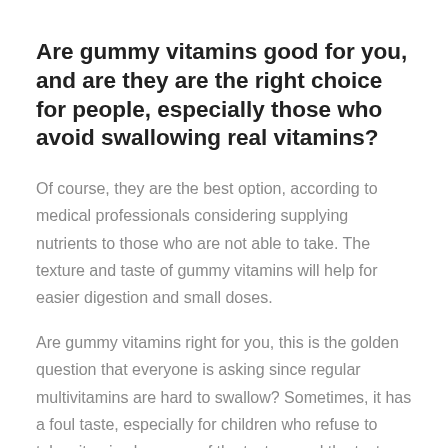Are gummy vitamins good for you, and are they are the right choice for people, especially those who avoid swallowing real vitamins?
Of course, they are the best option, according to medical professionals considering supplying nutrients to those who are not able to take. The texture and taste of gummy vitamins will help for easier digestion and small doses.
Are gummy vitamins right for you, this is the golden question that everyone is asking since regular multivitamins are hard to swallow? Sometimes, it has a foul taste, especially for children who refuse to take vitamins because of the texture and the taste...